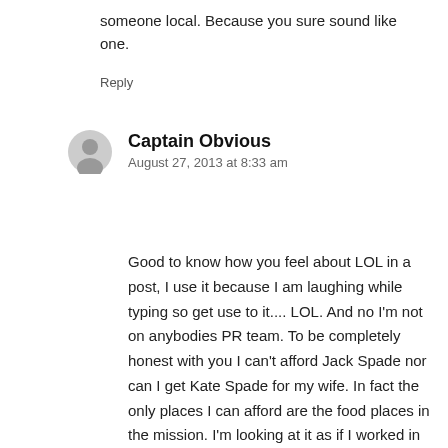someone local. Because you sure sound like one.
Reply
Captain Obvious
August 27, 2013 at 8:33 am
Good to know how you feel about LOL in a post, I use it because I am laughing while typing so get use to it.... LOL. And no I'm not on anybodies PR team. To be completely honest with you I can't afford Jack Spade nor can I get Kate Spade for my wife. In fact the only places I can afford are the food places in the mission. I'm looking at it as if I worked in one of the “Local Owned Businessess on Mission” Nobody would be complaining if they could afford whatever crazy rent that landlords raise it too right? How does that happen? With making more money!!! I'm for local business but if they are to stay open and continue to do business they need to make money off the new customers